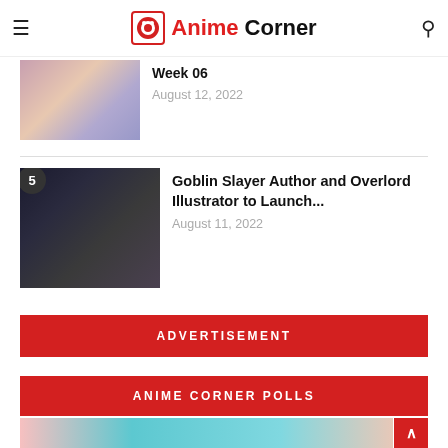Anime Corner
Week 06
August 12, 2022
Goblin Slayer Author and Overlord Illustrator to Launch...
August 11, 2022
ADVERTISEMENT
ANIME CORNER POLLS